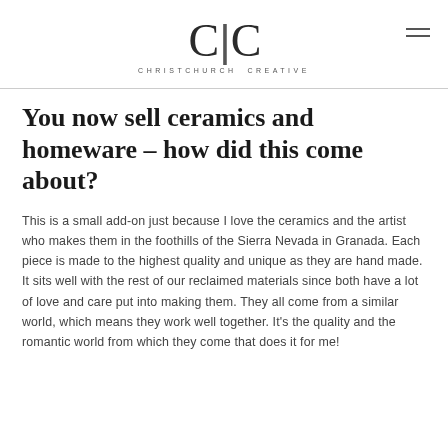C|C CHRISTCHURCH CREATIVE
You now sell ceramics and homeware – how did this come about?
This is a small add-on just because I love the ceramics and the artist who makes them in the foothills of the Sierra Nevada in Granada. Each piece is made to the highest quality and unique as they are hand made. It sits well with the rest of our reclaimed materials since both have a lot of love and care put into making them. They all come from a similar world, which means they work well together. It's the quality and the romantic world from which they come that does it for me!